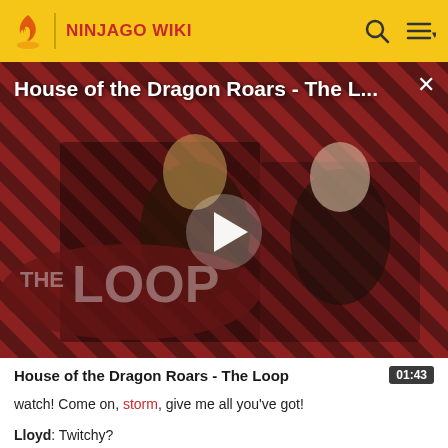NINJAGO WIKI
[Figure (screenshot): Video thumbnail for 'House of the Dragon Roars - The Loop' showing two characters from the show against a red and black diagonal stripe background with 'THE LOOP' text overlay and a play button in the center]
House of the Dragon Roars - The Loop
watch! Come on, storm, give me all you've got!
Lloyd: Twitchy?